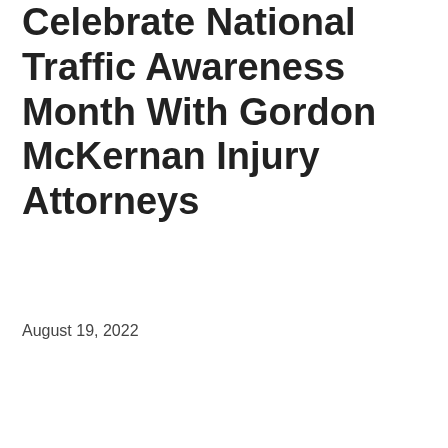Celebrate National Traffic Awareness Month With Gordon McKernan Injury Attorneys
August 19, 2022